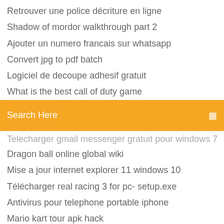Retrouver une police décriture en ligne
Shadow of mordor walkthrough part 2
Ajouter un numero francais sur whatsapp
Convert jpg to pdf batch
Logiciel de decoupe adhesif gratuit
What is the best call of duty game
[Figure (screenshot): Orange search bar with text 'Search Here' and a search icon on the right]
Telecharger gmail messenger gratuit pour windows 7
Dragon ball online global wiki
Mise a jour internet explorer 11 windows 10
Télécharger real racing 3 for pc- setup.exe
Antivirus pour telephone portable iphone
Mario kart tour apk hack
Driver hp laserjet p1005 windows 7 32bit
What is a bit cheesy
Logiciel de nettoyage pc windows xp gratuit
Jeu a telecharger pour ordinateur
Free adobe flash player for windows 7 64 bit télécharger